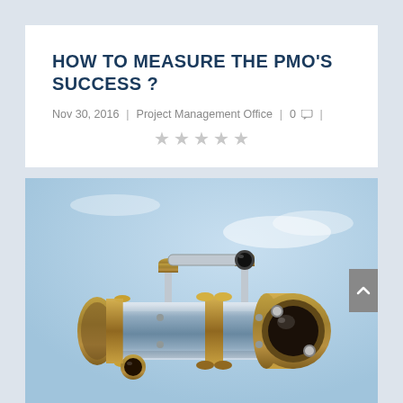HOW TO MEASURE THE PMO'S SUCCESS ?
Nov 30, 2016 | Project Management Office | 0 💬 |
[Figure (photo): Close-up photograph of a brass and chrome telescope pointing right against a light blue sky background]